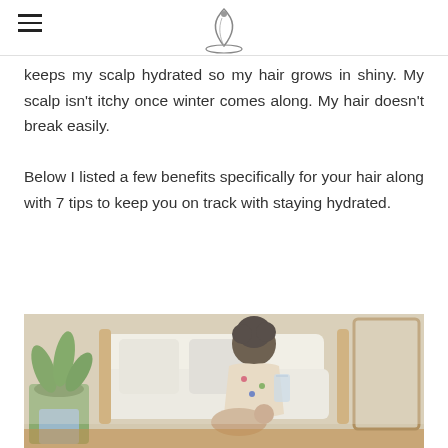[Navigation menu icon and logo]
keeps my scalp hydrated so my hair grows in shiny. My scalp isn't itchy once winter comes along. My hair doesn't break easily.
Below I listed a few benefits specifically for your hair along with 7 tips to keep you on track with staying hydrated.
[Figure (photo): A woman with natural curly hair sitting and drinking from a glass, with a baby in her lap, in a living room with a white sofa and a green houseplant nearby.]